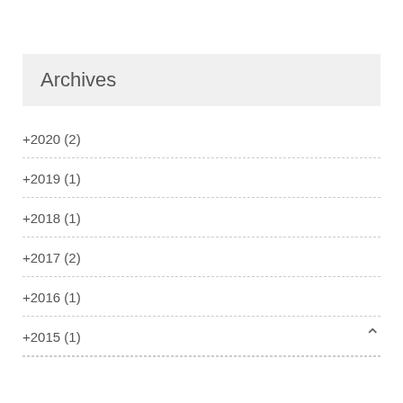Archives
+2020 (2)
+2019 (1)
+2018 (1)
+2017 (2)
+2016 (1)
+2015 (1)